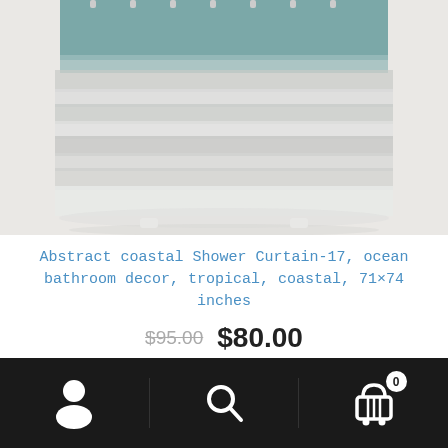[Figure (photo): Abstract coastal shower curtain with teal and grey watercolor stripe design, hanging on curtain rings, product photo on white/grey background]
Abstract coastal Shower Curtain-17, ocean bathroom decor, tropical, coastal, 71×74 inches
$95.00  $80.00
Add to cart